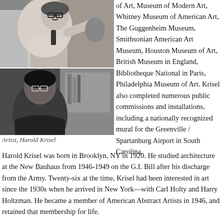[Figure (photo): Two black and white photographs of artist Harold Krisel stacked vertically. Top photo shows him gesturing with his hand, wearing glasses and a checked shirt. Bottom photo shows him from a different angle in a dark setting.]
Artist, Harold Krisel
of Art, Museum of Modern Art, Whitney Museum of American Art, The Guggenheim Museum, Smithsonian American Art Museum, Houston Museum of Art, British Museum in England, Bibliotheque National in Paris, Philadelphia Museum of Art. Krisel also completed numerous public commissions and installations, including a nationally recognized mural for the Greenville / Spartanburg Airport in South Carolina.
Harold Krisel was born in Brooklyn, NY in 1920. He studied architecture at the New Bauhaus from 1946-1949 on the G.I. Bill after his discharge from the Army. Twenty-six at the time, Krisel had been interested in art since the 1930s when he arrived in New York—with Carl Holty and Harry Holtzman. He became a member of American Abstract Artists in 1946, and retained that membership for life.